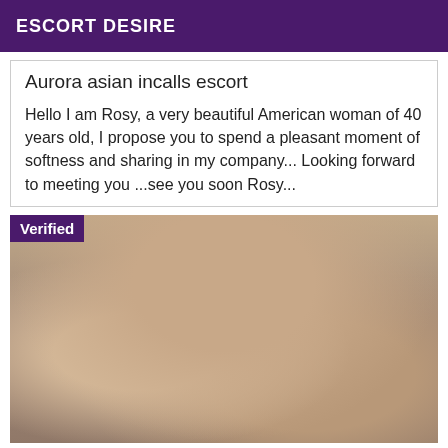ESCORT DESIRE
Aurora asian incalls escort
Hello I am Rosy, a very beautiful American woman of 40 years old, I propose you to spend a pleasant moment of softness and sharing in my company... Looking forward to meeting you ...see you soon Rosy...
[Figure (photo): Photo of a woman in a bikini taking a mirror selfie indoors, with a 'Verified' badge overlay in the top-left corner]